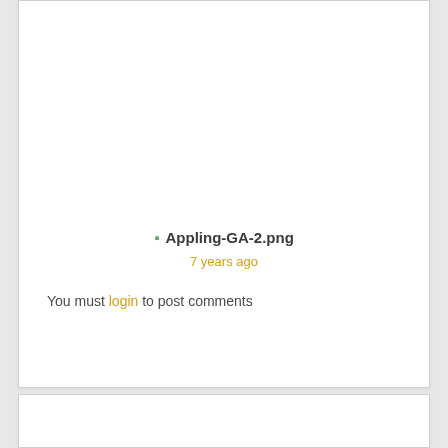Appling-GA-2.png
7 years ago
You must login to post comments